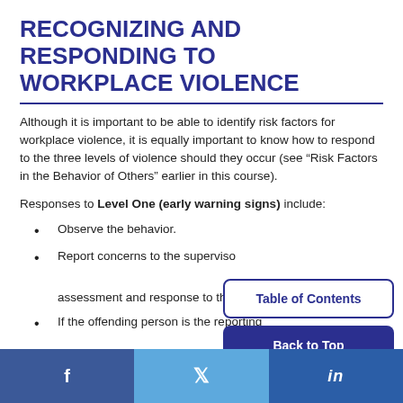RECOGNIZING AND RESPONDING TO WORKPLACE VIOLENCE
Although it is important to be able to identify risk factors for workplace violence, it is equally important to know how to respond to the three levels of violence should they occur (see “Risk Factors in the Behavior of Others” earlier in this course).
Responses to Level One (early warning signs) include:
Observe the behavior.
Report concerns to the supervisor or HR for assessment and response to the situation.
If the offending person is the reporting…
f  🐦  in